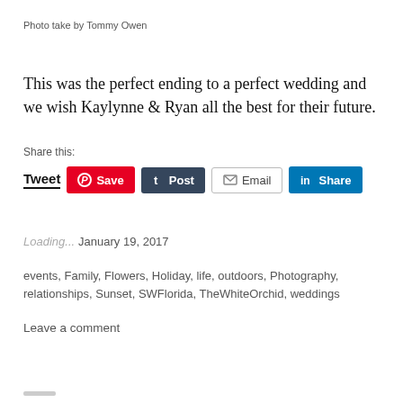Photo take by Tommy Owen
This was the perfect ending to a perfect wedding and we wish Kaylynne & Ryan all the best for their future.
Share this:
[Figure (screenshot): Social share buttons: Tweet, Save (Pinterest), Post (Tumblr), Email, Share (LinkedIn)]
Loading...
January 19, 2017
events, Family, Flowers, Holiday, life, outdoors, Photography, relationships, Sunset, SWFlorida, TheWhiteOrchid, weddings
Leave a comment